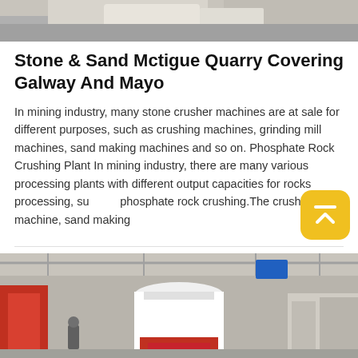[Figure (photo): Top portion of industrial machinery/crusher equipment, grey tones, partial view from above]
Stone & Sand Mctigue Quarry Covering Galway And Mayo
In mining industry, many stone crusher machines are at sale for different purposes, such as crushing machines, grinding mill machines, sand making machines and so on. Phosphate Rock Crushing Plant In mining industry, there are many various processing plants with different output capacities for rocks processing, such as phosphate rock crushing.The crushing machine, sand making
[Figure (photo): Industrial factory interior with large white cylindrical crusher machine, red conveyor visible on left, steel structure overhead]
Leave Message
Free Consultation